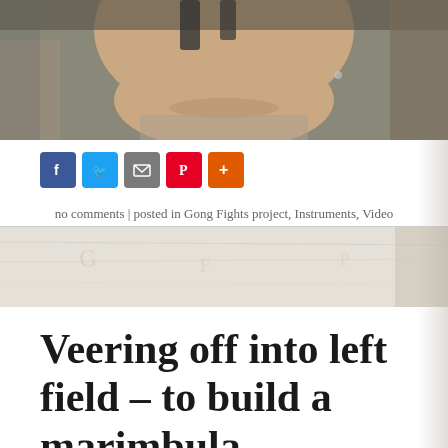[Figure (photo): Close-up photo of a person's face, cropped to show the lower half, smiling, with a room in the background. The image is partially cut off on the right side.]
no comments | posted in Gong Fights project, Instruments, Video
Veering off into left field – to build a marimbula
factoid
This is a long way from xylophones and propane-tank drums, but I've really been building cajóns and – for the first time – a marimbula.